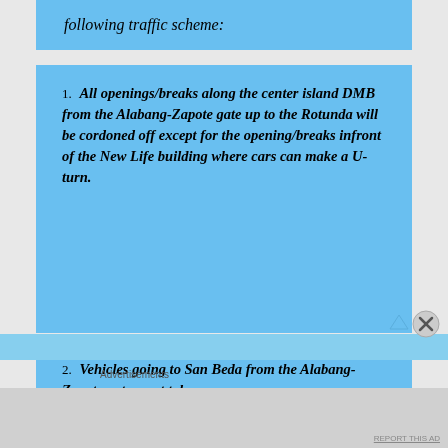following traffic scheme:
1. All openings/breaks along the center island DMB from the Alabang-Zapote gate up to the Rotunda will be cordoned off except for the opening/breaks infront of the New Life building where cars can make a U-turn.
2. Vehicles going to San Beda from the Alabang-Zapote gate must take
Advertisements